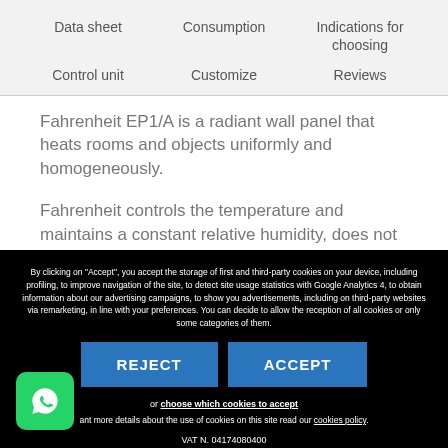Data sheet   Consumption   Indications for choosing
Control unit   Customize   Reviews
Fahrenheit EP1/A is a radiant wall panel that heats rooms and objects uniformly and homogeneously.
Fahrenheit controls the temperature and maintains a constant relative humidity, does not burn oxygen, is low
By clicking on "Accept", you accept the storage of first and third-party cookies on your device, including profiling, to improve navigation of the site, to detect site usage statistics with Google Analytics 4, to obtain information about our advertising campaigns, to show you advertisements, including on third-party websites via remarketing, in line with your preferences. You can decide to allow the reception of all cookies or only some categories of them.
REJECT
ACCEPT
or choose which cookies to accept
ant more details about the use of cookies on this site read our cookies policy.
VAT N. 04174080400